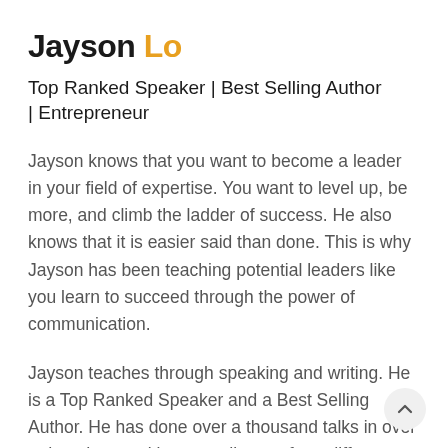Jayson Lo
Top Ranked Speaker | Best Selling Author | Entrepreneur
Jayson knows that you want to become a leader in your field of expertise. You want to level up, be more, and climb the ladder of success. He also knows that it is easier said than done. This is why Jayson has been teaching potential leaders like you learn to succeed through the power of communication.
Jayson teaches through speaking and writing. He is a Top Ranked Speaker and a Best Selling Author. He has done over a thousand talks in over a decade, speaking to audiences from different countries such as Australia,